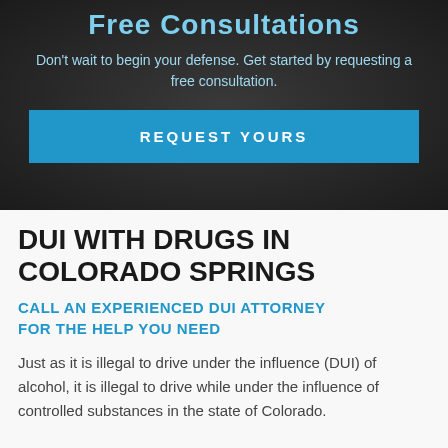Free Consultations
Don't wait to begin your defense. Get started by requesting a free consultation.
REQUEST YOURS
DUI WITH DRUGS IN COLORADO SPRINGS
CALL AN EXPERIENCED DUI ATTORNEY FOR THE HELP YOU NEED
Just as it is illegal to drive under the influence (DUI) of alcohol, it is illegal to drive while under the influence of controlled substances in the state of Colorado.